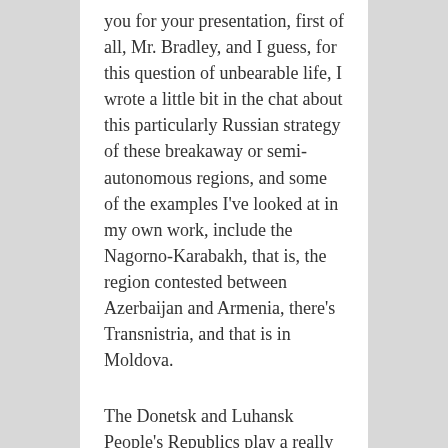you for your presentation, first of all, Mr. Bradley, and I guess, for this question of unbearable life, I wrote a little bit in the chat about this particularly Russian strategy of these breakaway or semi-autonomous regions, and some of the examples I've looked at in my own work, include the Nagorno-Karabakh, that is, the region contested between Azerbaijan and Armenia, there's Transnistria, and that is in Moldova.
The Donetsk and Luhansk People's Republics play a really important role in this Ukraine conflict, as well annexed